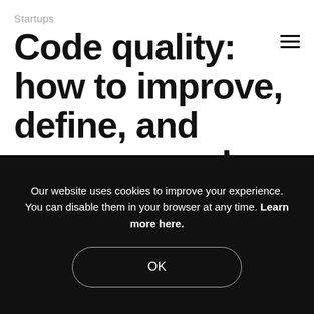Startups
Code quality: how to improve, define, and measure code quality
Our website uses cookies to improve your experience. You can disable them in your browser at any time. Learn more here.
OK